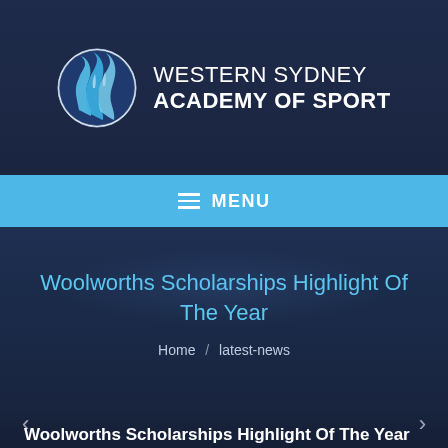[Figure (logo): Western Sydney Academy of Sport logo: circular white/blue emblem with flame/wave design, next to white text 'WESTERN SYDNEY ACADEMY OF SPORT']
MENU
Woolworths Scholarships Highlight Of The Year
Home / latest-news
Woolworths Scholarships Highlight Of The Year